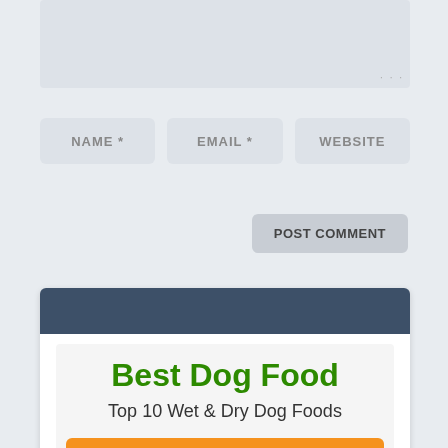[Figure (screenshot): Gray textarea input field at the top of a web comment form]
NAME *
EMAIL *
WEBSITE
POST COMMENT
[Figure (infographic): Advertisement widget with dark blue header bar and white body containing Best Dog Food promotional content]
Best Dog Food
Top 10 Wet & Dry Dog Foods
More Info